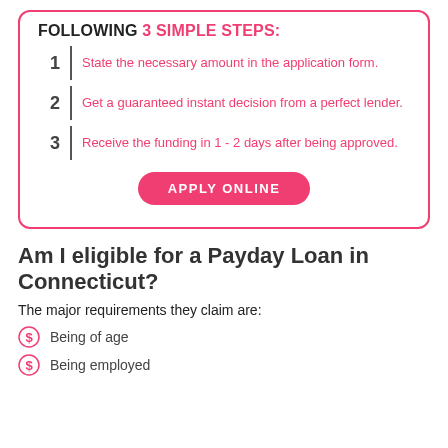FOLLOWING 3 SIMPLE STEPS:
State the necessary amount in the application form.
Get a guaranteed instant decision from a perfect lender.
Receive the funding in 1 - 2 days after being approved.
APPLY ONLINE
Am I eligible for a Payday Loan in Connecticut?
The major requirements they claim are:
Being of age
Being employed